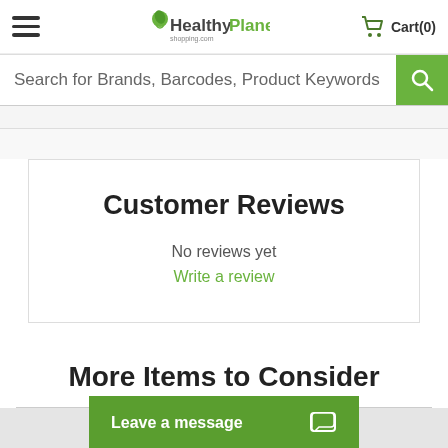HealthyPlanet shopping.com — Cart(0)
Search for Brands, Barcodes, Product Keywords
Customer Reviews
No reviews yet
Write a review
More Items to Consider
Leave a message